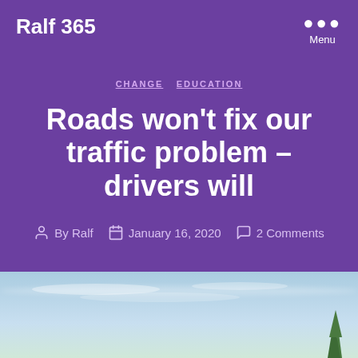Ralf 365
CHANGE  EDUCATION
Roads won't fix our traffic problem – drivers will
By Ralf  January 16, 2020  2 Comments
[Figure (photo): Sky and trees photo visible at the bottom of the page]